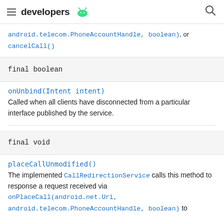developers
android.telecom.PhoneAccountHandle, boolean), or cancelCall()
final boolean
onUnbind(Intent intent)
Called when all clients have disconnected from a particular interface published by the service.
final void
placeCallUnmodified()
The implemented CallRedirectionService calls this method to response a request received via onPlaceCall(android.net.Uri, android.telecom.PhoneAccountHandle, boolean) to